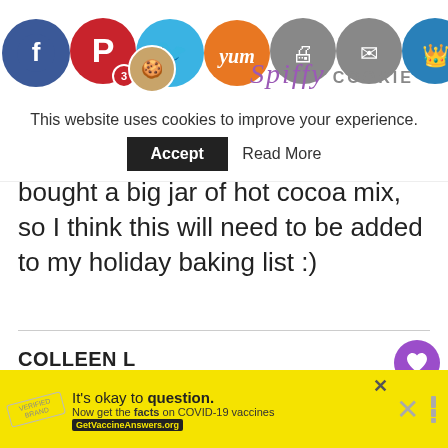[Figure (screenshot): Top navigation bar with social media icon circles: Facebook (blue), Pinterest (red with badge '3'), Twitter (blue), Yum (orange), cookie mascot logo, print (gray), mail (gray), crown (blue)]
This website uses cookies to improve your experience.
Accept   Read More
bought a big jar of hot cocoa mix, so I think this will need to be added to my holiday baking list :)
COLLEEN L
December 3, 2012 - 9:59 am
These sound amazing! I can't wait to make son
KAYLE (THE COOKING ACTRESS)
REPLY
[Figure (screenshot): What's Next promo with food image thumbnail and text 'Dark Chocolate...']
[Figure (screenshot): Ad banner: yellow background, 'It's okay to question. Now get the facts on COVID-19 vaccines GetVaccineAnswers.org']